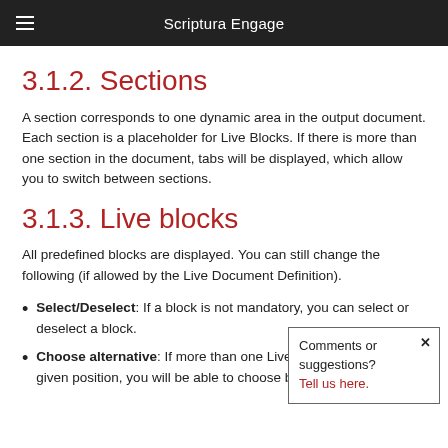Scriptura Engage
3.1.2. Sections
A section corresponds to one dynamic area in the output document. Each section is a placeholder for Live Blocks. If there is more than one section in the document, tabs will be displayed, which allow you to switch between sections.
3.1.3. Live blocks
All predefined blocks are displayed. You can still change the following (if allowed by the Live Document Definition).
Select/Deselect: If a block is not mandatory, you can select or deselect a block.
Choose alternative: If more than one Live Block is defined for a given position, you will be able to choose between alternatives.